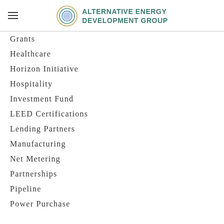Alternative Energy Development Group
Grants
Healthcare
Horizon Initiative
Hospitality
Investment Fund
LEED Certifications
Lending Partners
Manufacturing
Net Metering
Partnerships
Pipeline
Power Purchase